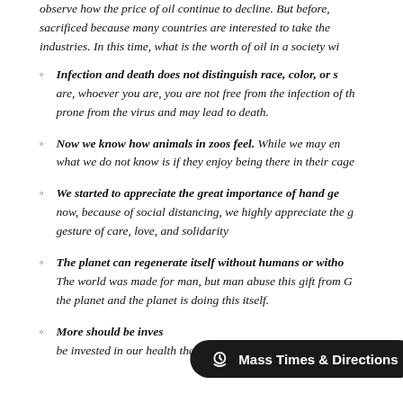observe how the price of oil continue to decline. But before, sacrificed because many countries are interested to take the industries. In this time, what is the worth of oil in a society wi
Infection and death does not distinguish race, color, or s... are, whoever you are, you are not free from the infection of th prone from the virus and may lead to death.
Now we know how animals in zoos feel. While we may en what we do not know is if they enjoy being there in their cage
We started to appreciate the great importance of hand ge... now, because of social distancing, we highly appreciate the g gesture of care, love, and solidarity
The planet can regenerate itself without humans or witho The world was made for man, but man abuse this gift from G the planet and the planet is doing this itself.
More should be inves... be invested in our health than in mere leisure and pleasures.